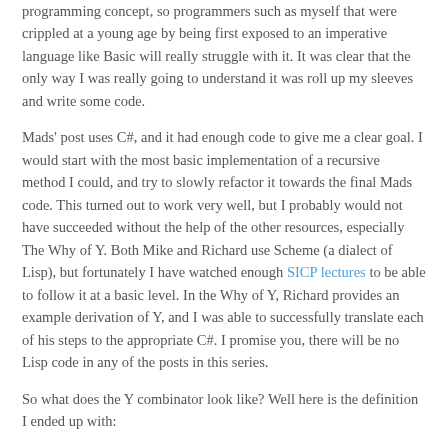programming concept, so programmers such as myself that were crippled at a young age by being first exposed to an imperative language like Basic will really struggle with it. It was clear that the only way I was really going to understand it was roll up my sleeves and write some code.
Mads' post uses C#, and it had enough code to give me a clear goal. I would start with the most basic implementation of a recursive method I could, and try to slowly refactor it towards the final Mads code. This turned out to work very well, but I probably would not have succeeded without the help of the other resources, especially The Why of Y. Both Mike and Richard use Scheme (a dialect of Lisp), but fortunately I have watched enough SICP lectures to be able to follow it at a basic level. In the Why of Y, Richard provides an example derivation of Y, and I was able to successfully translate each of his steps to the appropriate C#. I promise you, there will be no Lisp code in any of the posts in this series.
So what does the Y combinator look like? Well here is the definition I ended up with: